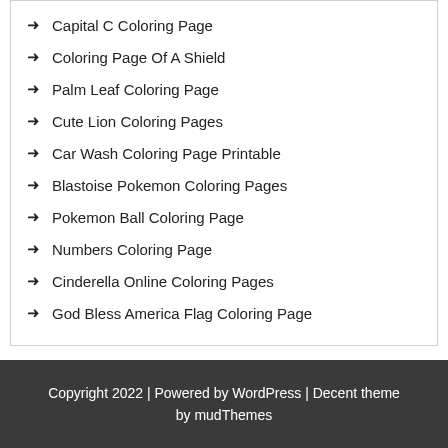Capital C Coloring Page
Coloring Page Of A Shield
Palm Leaf Coloring Page
Cute Lion Coloring Pages
Car Wash Coloring Page Printable
Blastoise Pokemon Coloring Pages
Pokemon Ball Coloring Page
Numbers Coloring Page
Cinderella Online Coloring Pages
God Bless America Flag Coloring Page
Copyright 2022 | Powered by WordPress | Decent theme by mudThemes